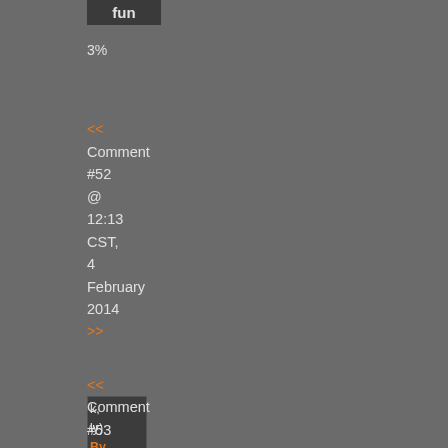fun
3%
<< Comment #52 @ 12:13 CST, 4 February 2014 >>
[Figure (screenshot): Truncated inner comment box showing partial text: k, ly) By [flag icon] qu is po - Re to #5 and gray text C M FA]
<< Comment #53